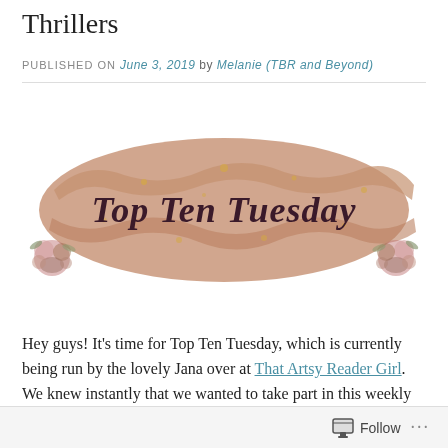Thrillers
PUBLISHED ON June 3, 2019 by Melanie (TBR and Beyond)
[Figure (illustration): Top Ten Tuesday banner with tan/brown brushstroke background with floral decorations at corners and gold dots, displaying 'Top Ten Tuesday' in dark cursive script.]
Hey guys! It's time for Top Ten Tuesday, which is currently being run by the lovely Jana over at That Artsy Reader Girl. We knew instantly that we wanted to take part in this weekly meme because both of us love making list, so this is perfect!
Follow ...